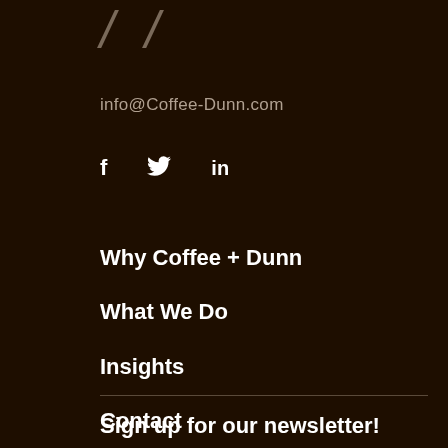[Figure (logo): Stylized italic slash marks as logo placeholder in brownish/tan color]
info@Coffee-Dunn.com
[Figure (infographic): Social media icons: Facebook (f), Twitter (bird), LinkedIn (in)]
Why Coffee + Dunn
What We Do
Insights
Contact
Sign up for our newsletter!